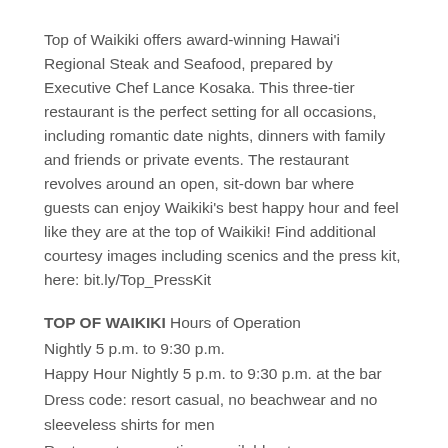Top of Waikiki offers award-winning Hawai'i Regional Steak and Seafood, prepared by Executive Chef Lance Kosaka. This three-tier restaurant is the perfect setting for all occasions, including romantic date nights, dinners with family and friends or private events. The restaurant revolves around an open, sit-down bar where guests can enjoy Waikiki's best happy hour and feel like they are at the top of Waikiki! Find additional courtesy images including scenics and the press kit, here: bit.ly/Top_PressKit
TOP OF WAIKIKI Hours of Operation
Nightly 5 p.m. to 9:30 p.m.
Happy Hour Nightly 5 p.m. to 9:30 p.m. at the bar
Dress code: resort casual, no beachwear and no sleeveless shirts for men
Restaurant reservations available at topofwaikiki.com or by calling (808) 923-3877
Validated parking available in the Waikiki Business